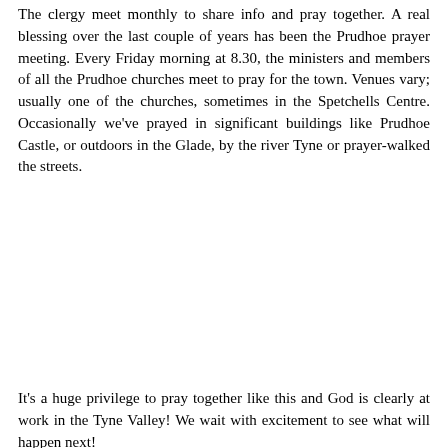The clergy meet monthly to share info and pray together. A real blessing over the last couple of years has been the Prudhoe prayer meeting. Every Friday morning at 8.30, the ministers and members of all the Prudhoe churches meet to pray for the town. Venues vary; usually one of the churches, sometimes in the Spetchells Centre. Occasionally we've prayed in significant buildings like Prudhoe Castle, or outdoors in the Glade, by the river Tyne or prayer-walked the streets.
It's a huge privilege to pray together like this and God is clearly at work in the Tyne Valley! We wait with excitement to see what will happen next!